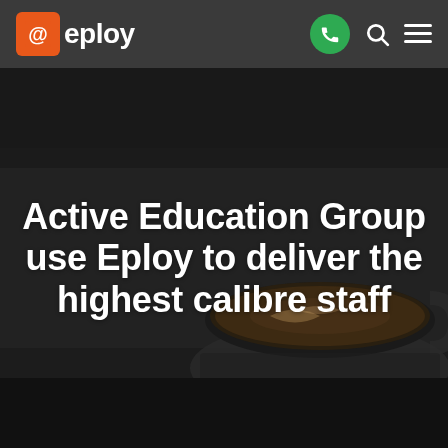@eploy
Active Education Group use Eploy to deliver the highest calibre staff
[Figure (photo): Dark background with a coffee cup latte art visible in the lower right area, serving as the hero image background]